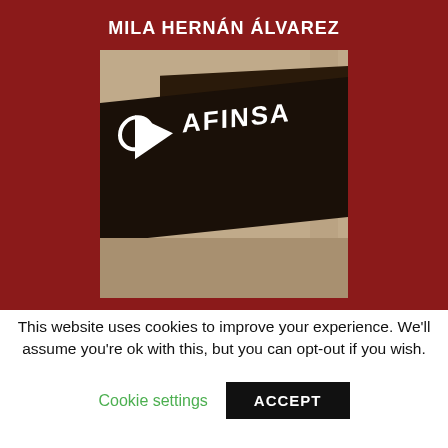[Figure (photo): Book cover with dark red background. Author name 'MILA HERNÁN ÁLVAREZ' at top in white bold text. Center shows a sepia-toned photograph of an AFINSA storefront with a dark awning displaying the AFINSA logo (circle and arrow) and brand name in white lettering.]
This website uses cookies to improve your experience. We'll assume you're ok with this, but you can opt-out if you wish.
Cookie settings
ACCEPT